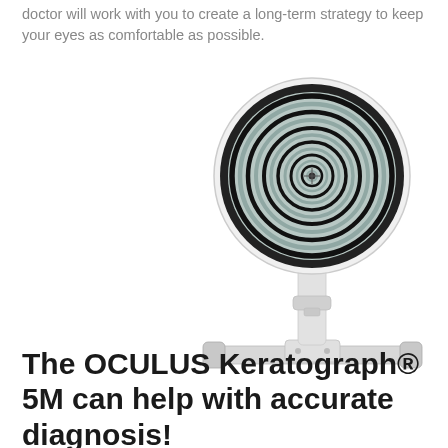doctor will work with you to create a long-term strategy to keep your eyes as comfortable as possible.
[Figure (photo): Photo of an OCULUS Keratograph 5M medical device — a white ophthalmic instrument with a circular head displaying concentric black and teal/grey rings (Placido disc pattern), mounted on a white articulated arm with a horizontal base/stand.]
The OCULUS Keratograph® 5M can help with accurate diagnosis!